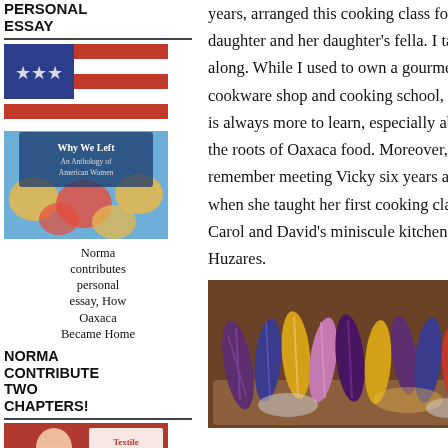PERSONAL ESSAY
[Figure (photo): Book cover: 'Why We Left: An Anthology of American Women' with American flag and flowers]
Norma contributes personal essay, How Oaxaca Became Home
NORMA CONTRIBUTES TWO CHAPTERS!
[Figure (photo): Book cover: Textile Fiestas of Mexico]
years, arranged this cooking class for her daughter and her daughter's fella. I tagged along. While I used to own a gourmet cookware shop and cooking school, there is always more to learn, especially about the roots of Oaxaca food. Moreover, I remember meeting Vicky six years ago when she taught her first cooking class in Carol and David's miniscule kitchen on Huzares.
[Figure (photo): Colorful ears of corn in purple, yellow, blue, and red hues arranged in a wooden tray]
Indigo Dye Workshop click link for details
Special One-Day Folk Art Tour on October 31, 2022, Day of the Dead.
One-Day Tours Set to Your Schedule
Oaxaca has the largest and most diverse textile culture in Mexico! Learn about it.
1-Day Oaxaca City Collectors Textile Tour. Exclusive Access!